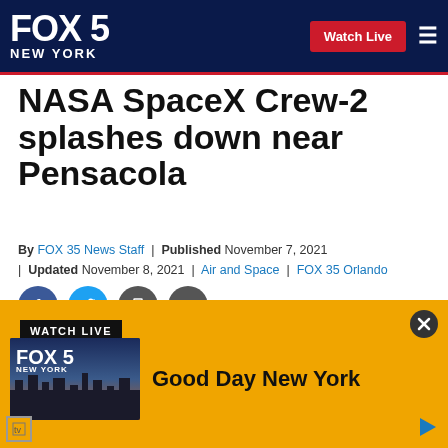FOX 5 NEW YORK | Watch Live
NASA SpaceX Crew-2 splashes down near Pensacola
By FOX 35 News Staff | Published November 7, 2021 | Updated November 8, 2021 | Air and Space | FOX 35 Orlando
[Figure (other): Social sharing icons: Facebook, Twitter, Print, Email]
[Figure (other): WATCH LIVE ad banner with FOX 5 New York thumbnail and Good Day New York show title on yellow background]